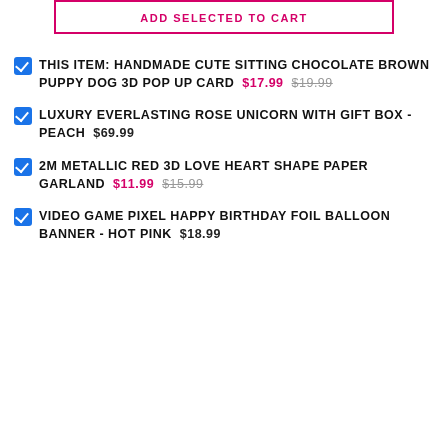ADD SELECTED TO CART
THIS ITEM: HANDMADE CUTE SITTING CHOCOLATE BROWN PUPPY DOG 3D POP UP CARD $17.99 $19.99
LUXURY EVERLASTING ROSE UNICORN WITH GIFT BOX - PEACH $69.99
2M METALLIC RED 3D LOVE HEART SHAPE PAPER GARLAND $11.99 $15.99
VIDEO GAME PIXEL HAPPY BIRTHDAY FOIL BALLOON BANNER - HOT PINK $18.99